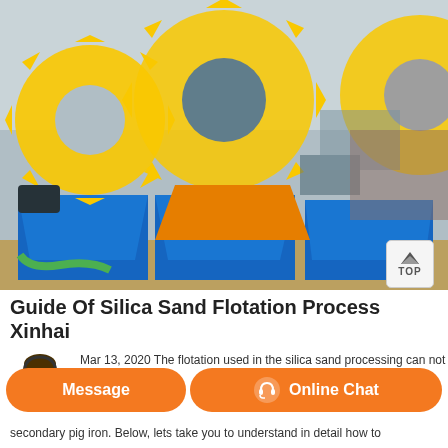[Figure (photo): Industrial sand washing / flotation machines with large yellow gear-wheel rotors and blue steel troughs, photographed outdoors at a processing site. Multiple units visible side by side.]
Guide Of Silica Sand Flotation Process Xinhai
Mar 13, 2020 The flotation used in the silica sand processing can not only
secondary pig iron. Below, lets take you to understand in detail how to